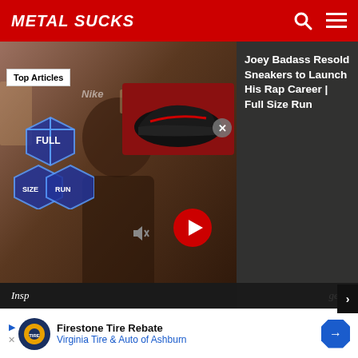MetalSucks
[Figure (screenshot): Video thumbnail showing a person in a store with sneakers, with Full Size Run logo overlay and a red/black sneaker in top right corner. Close X button and red play button visible. 'Top Articles' badge in top left.]
Joey Badass Resold Sneakers to Launch His Rap Career | Full Size Run
straight every Friday afternoon. Straight out the spit valve in a drifting string of slob! Here’s this week’s question:
- ADVERTISEMENT -
Insp                                                    gers
[Figure (infographic): Firestone Tire Rebate advertisement banner. Virginia Tire & Auto of Ashburn. Shows logo circle, text, and blue diamond arrow icon.]